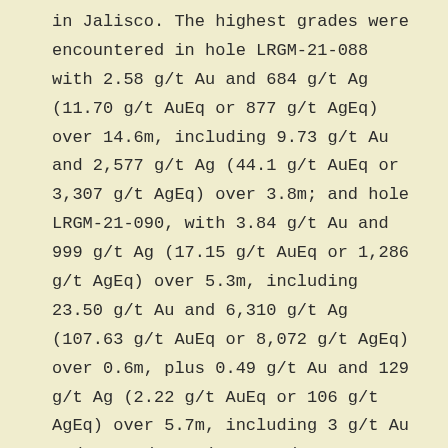in Jalisco. The highest grades were encountered in hole LRGM-21-088 with 2.58 g/t Au and 684 g/t Ag (11.70 g/t AuEq or 877 g/t AgEq) over 14.6m, including 9.73 g/t Au and 2,577 g/t Ag (44.1 g/t AuEq or 3,307 g/t AgEq) over 3.8m; and hole LRGM-21-090, with 3.84 g/t Au and 999 g/t Ag (17.15 g/t AuEq or 1,286 g/t AgEq) over 5.3m, including 23.50 g/t Au and 6,310 g/t Ag (107.63 g/t AuEq or 8,072 g/t AgEq) over 0.6m, plus 0.49 g/t Au and 129 g/t Ag (2.22 g/t AuEq or 106 g/t AgEq) over 5.7m, including 3 g/t Au and 876 g/t Ag (14.68 g/t AuEq or 1,101 g/t AgEq) over 0.7m, plus 0.27 g/t Au and 85 g/t Ag (1.40 g/t AuEq or 105 g/t AgEq) over 2.5m.
Southern Silver Exploration Corp., announced drill results and reported a new